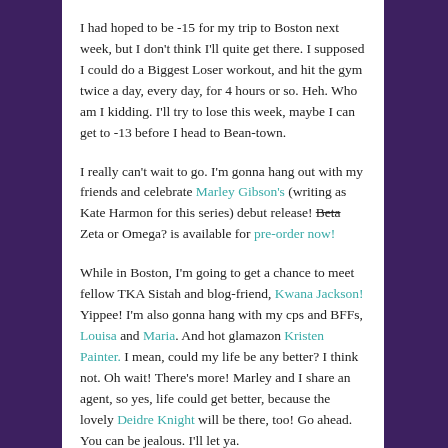I had hoped to be -15 for my trip to Boston next week, but I don't think I'll quite get there. I supposed I could do a Biggest Loser workout, and hit the gym twice a day, every day, for 4 hours or so. Heh. Who am I kidding. I'll try to lose this week, maybe I can get to -13 before I head to Bean-town.
I really can't wait to go. I'm gonna hang out with my friends and celebrate Marley Gibson's (writing as Kate Harmon for this series) debut release! Beta Zeta or Omega? is available for pre-order now!
While in Boston, I'm going to get a chance to meet fellow TKA Sistah and blog-friend, Kwana Jackson! Yippee! I'm also gonna hang with my cps and BFFs, Louisa and Maria. And hot glamazon Kristen Painter. I mean, could my life be any better? I think not. Oh wait! There's more! Marley and I share an agent, so yes, life could get better, because the lovely Deidre Knight will be there, too! Go ahead. You can be jealous. I'll let ya.